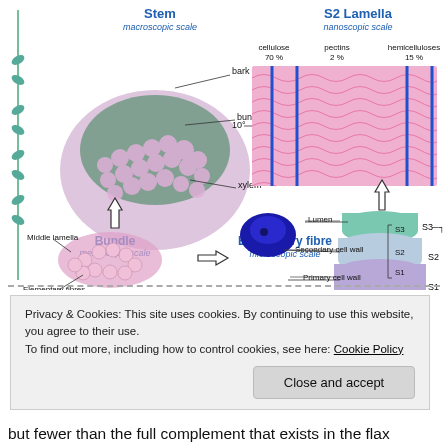[Figure (illustration): Scientific diagram showing flax fiber structure at multiple scales: Stem (macroscopic scale) with bark, bundle, xylem labels; Bundle (mesoscopic scale) showing middle lamella and elementary fibres; Elementary fibre (microscopic scale) showing lumen, secondary cell wall, primary cell wall, S1/S2/S3 layers; S2 Lamella (nanoscopic scale) showing cellulose 70%, pectins 2%, hemicelluloses 15% arranged in layered structure at 10° angle.]
Privacy & Cookies: This site uses cookies. By continuing to use this website, you agree to their use.
To find out more, including how to control cookies, see here: Cookie Policy
but fewer than the full complement that exists in the flax